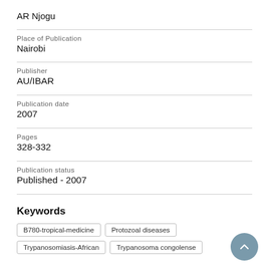AR Njogu
Place of Publication
Nairobi
Publisher
AU/IBAR
Publication date
2007
Pages
328-332
Publication status
Published - 2007
Keywords
B780-tropical-medicine
Protozoal diseases
Trypanosomiasis-African
Trypanosoma congolense